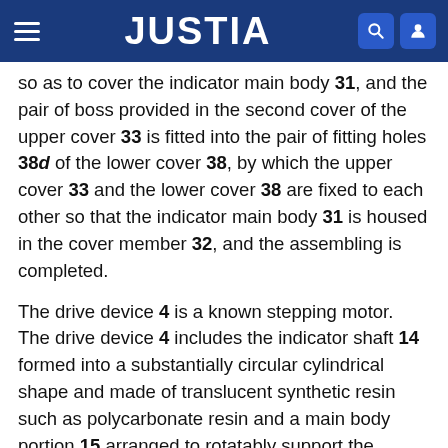JUSTIA
so as to cover the indicator main body 31, and the pair of boss provided in the second cover of the upper cover 33 is fitted into the pair of fitting holes 38d of the lower cover 38, by which the upper cover 33 and the lower cover 38 are fixed to each other so that the indicator main body 31 is housed in the cover member 32, and the assembling is completed.
The drive device 4 is a known stepping motor. The drive device 4 includes the indicator shaft 14 formed into a substantially circular cylindrical shape and made of translucent synthetic resin such as polycarbonate resin and a main body portion 15 arranged to rotatably support the indicator shaft 14 and rotate the indicator shaft 14 on the principle of the stepping motor in accordance with measured quantity of speed obtained by a speed sensor not shown. A bottom face 15a of the